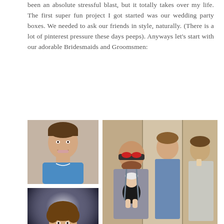been an absolute stressful blast, but it totally takes over my life. The first super fun project I got started was our wedding party boxes. We needed to ask our friends in style, naturally. (There is a lot of pinterest pressure these days peeps). Anyways let's start with our adorable Bridesmaids and Groomsmen:
[Figure (photo): Photo of a young man in a blue shirt smiling, close-up portrait shot]
[Figure (photo): Photo of three men standing together, one holding a baby in a carrier, resembling a Hangover movie scene pose in an elevator or hallway]
[Figure (photo): Photo of a young man with curly hair smiling under stadium lights]
[Figure (photo): Partial photo of a person wearing a yellow/green beanie hat with a design on it]
[Figure (photo): Close-up photo of a man wearing a dark Atlanta Falcons cap, looking down]
[Figure (photo): Photo of a young person wearing a dark cap with a lightning bolt design]